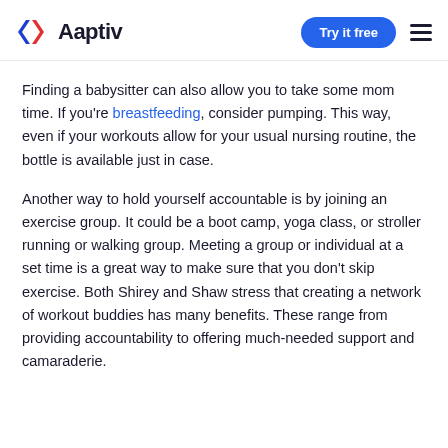Aaptiv — Try it free
Finding a babysitter can also allow you to take some mom time. If you're breastfeeding, consider pumping. This way, even if your workouts allow for your usual nursing routine, the bottle is available just in case.
Another way to hold yourself accountable is by joining an exercise group. It could be a boot camp, yoga class, or stroller running or walking group. Meeting a group or individual at a set time is a great way to make sure that you don't skip exercise. Both Shirey and Shaw stress that creating a network of workout buddies has many benefits. These range from providing accountability to offering much-needed support and camaraderie.